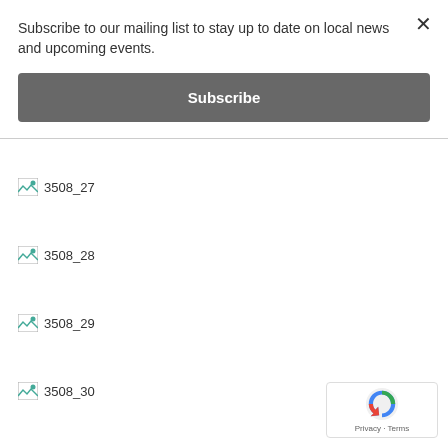Subscribe to our mailing list to stay up to date on local news and upcoming events.
Subscribe
[Figure (other): Broken image placeholder labeled 3508_27]
[Figure (other): Broken image placeholder labeled 3508_28]
[Figure (other): Broken image placeholder labeled 3508_29]
[Figure (other): Broken image placeholder labeled 3508_30]
[Figure (other): reCAPTCHA badge with Privacy and Terms text]